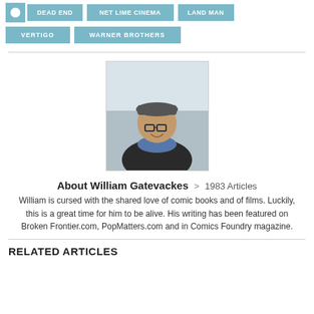VERTIGO
WARNER BROTHERS
[Figure (photo): Portrait photo of William Gatevackes wearing a flat cap and glasses, smiling, outdoor winter background]
About William Gatevackes > 1983 Articles
William is cursed with the shared love of comic books and of films. Luckily, this is a great time for him to be alive. His writing has been featured on Broken Frontier.com, PopMatters.com and in Comics Foundry magazine.
RELATED ARTICLES